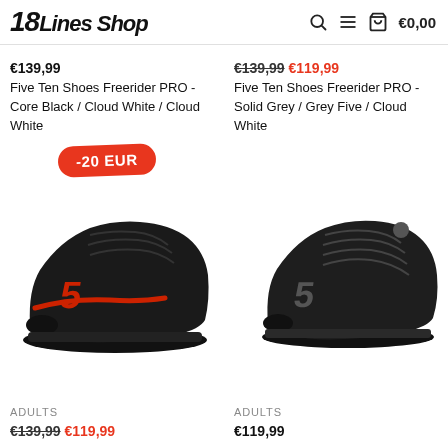18Lines Shop — €0,00
€139,99
Five Ten Shoes Freerider PRO - Core Black / Cloud White / Cloud White
€139,99 €119,99
Five Ten Shoes Freerider PRO - Solid Grey / Grey Five / Cloud White
[Figure (photo): Black Five Ten Freerider PRO shoe with red accents and -20 EUR discount badge]
[Figure (photo): Black Five Ten Freerider PRO shoe, all black colorway]
ADULTS
€139,99 €119,99
ADULTS
€119,99